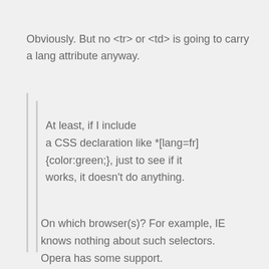Obviously. But no <tr> or <td> is going to carry a lang attribute anyway.
At least, if I include a CSS declaration like *[lang=fr] {color:green;}, just to see if it works, it doesn't do anything.
On which browser(s)? For example, IE knows nothing about such selectors. Opera has some support.